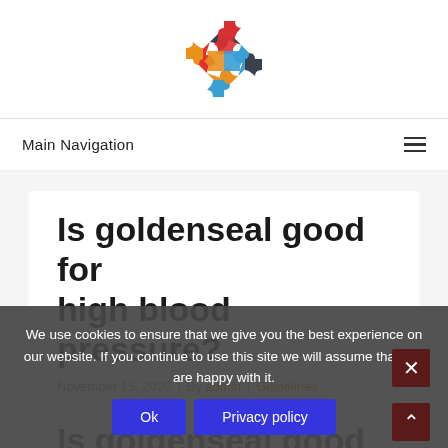[Figure (logo): Colorful puzzle pieces logo arranged in a circle — red, dark gray, blue, yellow/orange pieces]
Main Navigation
Is goldenseal good for high blood pressure?
November 15, 2020 | By admin | Guidelines
Is goldenseal good for high blood pressure?
We use cookies to ensure that we give you the best experience on our website. If you continue to use this site we will assume that you are happy with it.
Ok   Privacy policy